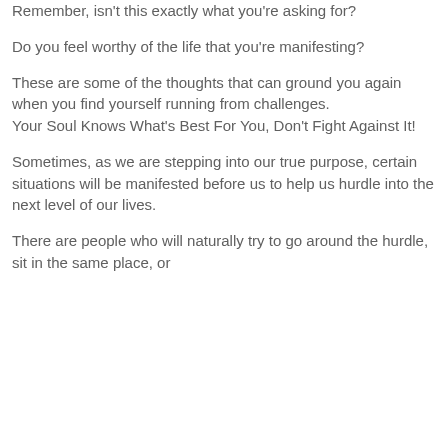Remember, isn't this exactly what you're asking for?
Do you feel worthy of the life that you're manifesting?
These are some of the thoughts that can ground you again when you find yourself running from challenges.
Your Soul Knows What's Best For You, Don't Fight Against It!
Sometimes, as we are stepping into our true purpose, certain situations will be manifested before us to help us hurdle into the next level of our lives.
There are people who will naturally try to go around the hurdle, sit in the same place, or